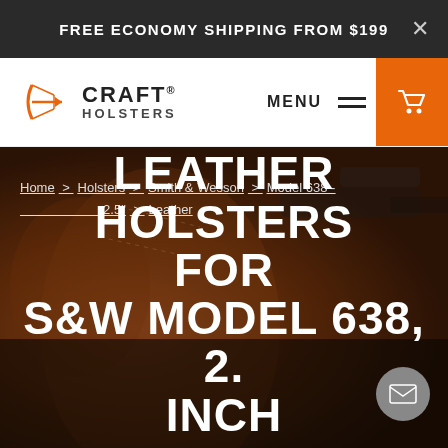FREE ECONOMY SHIPPING FROM $199
[Figure (logo): Craft Holsters logo with orange archer icon and CRAFT HOLSTERS text]
Home > Holsters > Smith & Wesson > Model 638 - 2.5" > Leather
LEATHER HOLSTERS FOR S&W MODEL 638, 2... INCH
[Figure (photo): Dark leather holsters and gun accessories on brown leather background]